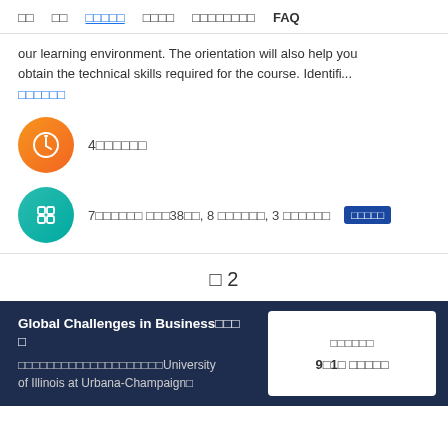□□  □□  □□□□□  □□□□  □□□□□□□□  FAQ
our learning environment. The orientation will also help you obtain the technical skills required for the course. Identifi...
□□□□□□
4□□□□□□
7□□□□□□ □□□38□□, 8 □□□□□□, 3 □□□□□□  □□□□□
□ 2
Global Challenges in Business□□□□
□□□□□□□□□□□□□□□□□□□□University of Illinois at Urbana-Champaign□
□□□□□□
9□1□ □□□□□